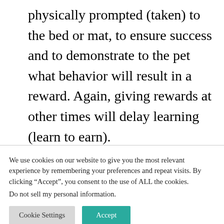physically prompted (taken) to the bed or mat, to ensure success and to demonstrate to the pet what behavior will result in a reward. Again, giving rewards at other times will delay learning (learn to earn).
If the dog is also taught to sleep in this area and favored toys are kept in the area
We use cookies on our website to give you the most relevant experience by remembering your preferences and repeat visits. By clicking “Accept”, you consent to the use of ALL the cookies.
Do not sell my personal information.